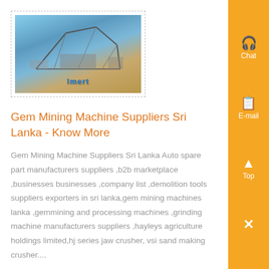[Figure (photo): Industrial mining equipment/machinery at a construction or mining site with blue sky and sandy ground. Text overlay reads what appears to be a brand name in blue letters.]
Gem Mining Machine Suppliers Sri Lanka - Know More
Gem Mining Machine Suppliers Sri Lanka Auto spare part manufacturers suppliers ,b2b marketplace ,businesses businesses ,company list ,demolition tools suppliers exporters in sri lanka,gem mining machines lanka ,gemmining and processing machines ,grinding machine manufacturers suppliers ,hayleys agriculture holdings limited,hj series jaw crusher, vsi sand making crusher....